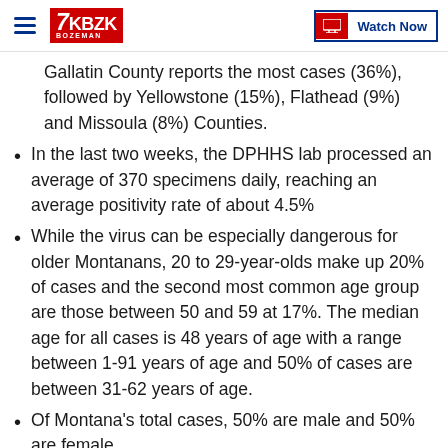KBZK BOZEMAN | Watch Now
Gallatin County reports the most cases (36%), followed by Yellowstone (15%), Flathead (9%) and Missoula (8%) Counties.
In the last two weeks, the DPHHS lab processed an average of 370 specimens daily, reaching an average positivity rate of about 4.5%
While the virus can be especially dangerous for older Montanans, 20 to 29-year-olds make up 20% of cases and the second most common age group are those between 50 and 59 at 17%. The median age for all cases is 48 years of age with a range between 1-91 years of age and 50% of cases are between 31-62 years of age.
Of Montana's total cases, 50% are male and 50% are female.